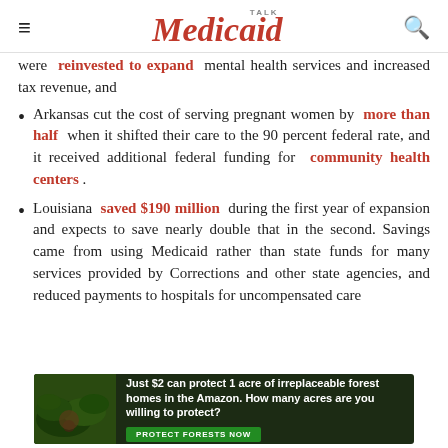Medicaid TALK
were reinvested to expand mental health services and increased tax revenue, and
Arkansas cut the cost of serving pregnant women by more than half when it shifted their care to the 90 percent federal rate, and it received additional federal funding for community health centers.
Louisiana saved $190 million during the first year of expansion and expects to save nearly double that in the second. Savings came from using Medicaid rather than state funds for many services provided by Corrections and other state agencies, and reduced payments to hospitals for uncompensated care
[Figure (infographic): Advertisement banner: Just $2 can protect 1 acre of irreplaceable forest homes in the Amazon. How many acres are you willing to protect? PROTECT FORESTS NOW]